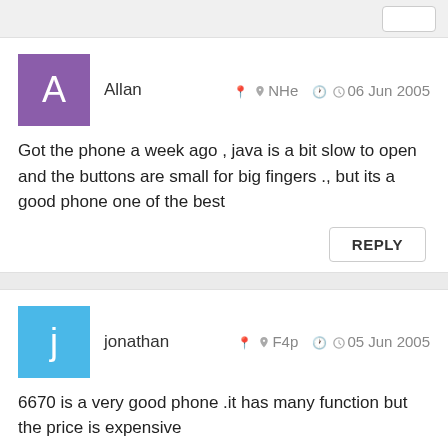Allan   NHe   06 Jun 2005
Got the phone a week ago , java is a bit slow to open and the buttons are small for big fingers ., but its a good phone one of the best
REPLY
jonathan   F4p   05 Jun 2005
6670 is a very good phone .it has many function but the price is expensive
REPLY